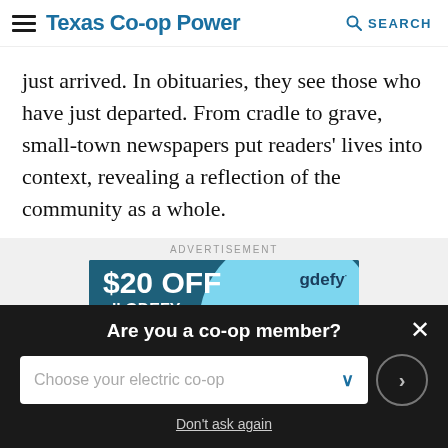Texas Co-op Power  SEARCH
just arrived. In obituaries, they see those who have just departed. From cradle to grave, small-town newspapers put readers' lives into context, revealing a reflection of the community as a whole.
ADVERTISEMENT
[Figure (illustration): Advertisement banner for gdefy footwear: '$20 OFF all GDEFY footwear. Excludes sandals.' with gdefy logo and shoe image on teal/blue background.]
Are you a co-op member?
Choose your electric co-op
Don't ask again